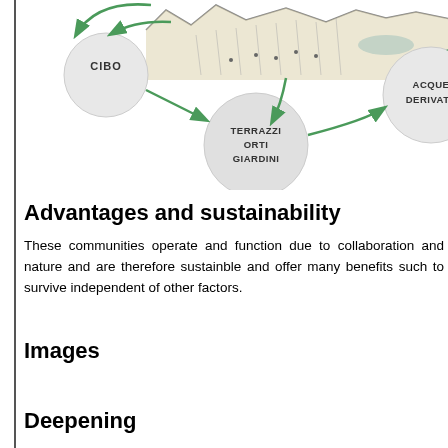[Figure (infographic): Circular flow diagram showing agricultural/ecological system with labeled nodes: CIBO (food), TERRAZZI ORTI GIARDINI (terraces/gardens), ACQUE DERIVATE (derived waters), connected by green arrows indicating resource flows, with a landscape sketch in the center.]
Advantages and sustainability
These communities operate and function due to collaboration and nature and are therefore sustainble and offer many benefits such to survive independent of other factors.
Images
Deepening